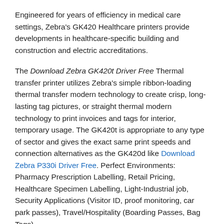Engineered for years of efficiency in medical care settings, Zebra's GK420 Healthcare printers provide developments in healthcare-specific building and construction and electric accreditations.
The Download Zebra GK420t Driver Free Thermal transfer printer utilizes Zebra's simple ribbon-loading thermal transfer modern technology to create crisp, long-lasting tag pictures, or straight thermal modern technology to print invoices and tags for interior, temporary usage. The GK420t is appropriate to any type of sector and gives the exact same print speeds and connection alternatives as the GK420d like Download Zebra P330i Driver Free. Perfect Environments: Pharmacy Prescription Labelling, Retail Pricing, Healthcare Specimen Labelling, Light-Industrial job, Security Applications (Visitor ID, proof monitoring, car park passes), Travel/Hospitality (Boarding Passes, Bag Tags).
Led from consumer input and with customized designs for a series